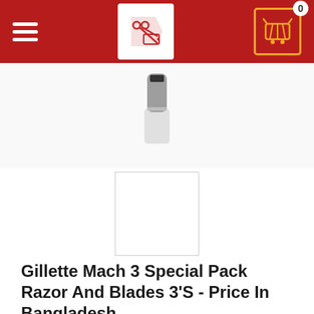[Figure (screenshot): E-commerce website navigation bar with hamburger menu on left, store logo in center, shopping cart icon with badge showing 0 on right. Background is dark red.]
[Figure (photo): Gillette Mach 3 Special Pack Razor product image, partially visible at top, with a smaller white thumbnail selection box below it.]
Gillette Mach 3 Special Pack Razor And Blades 3'S - Price In Bangladesh
Price: Tk 1450 (strikethrough)
Discount Price: Tk 1350